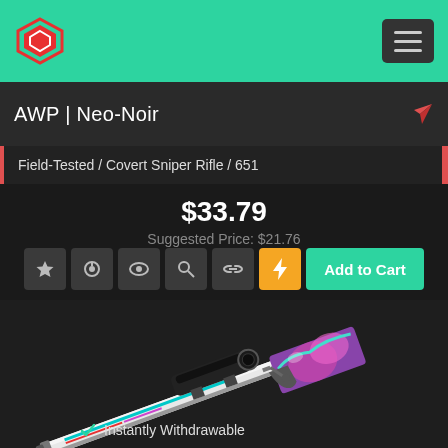AWP | Neo-Noir — Gaming marketplace header
AWP | Neo-Noir
Field-Tested / Covert Sniper Rifle / 651
$33.79
Suggested Price: $21.76
[Figure (illustration): AWP Neo-Noir skin — sniper rifle with white barrel, teal stripe, and colorful purple/pink anime-style artwork on the stock]
Instantly Withdrawable